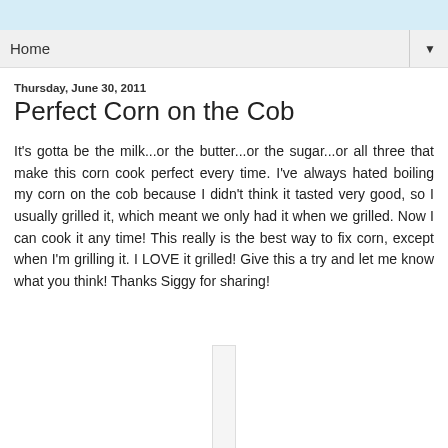Home
Thursday, June 30, 2011
Perfect Corn on the Cob
It's gotta be the milk...or the butter...or the sugar...or all three that make this corn cook perfect every time. I've always hated boiling my corn on the cob because I didn't think it tasted very good, so I usually grilled it, which meant we only had it when we grilled. Now I can cook it any time! This really is the best way to fix corn, except when I'm grilling it. I LOVE it grilled! Give this a try and let me know what you think! Thanks Siggy for sharing!
[Figure (photo): Image placeholder/thumbnail partially visible at bottom of page]